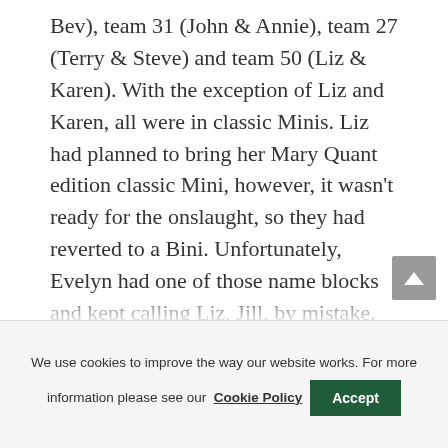Bev), team 31 (John & Annie), team 27 (Terry & Steve) and team 50 (Liz & Karen). With the exception of Liz and Karen, all were in classic Minis. Liz had planned to bring her Mary Quant edition classic Mini, however, it wasn't ready for the onslaught, so they had reverted to a Bini. Unfortunately, Evelyn had one of those name blocks and kept calling Liz, Jill, by mistake. Attempting to refer to Liz as Not-Karen didn't work and even after fave
We use cookies to improve the way our website works. For more information please see our Cookie Policy